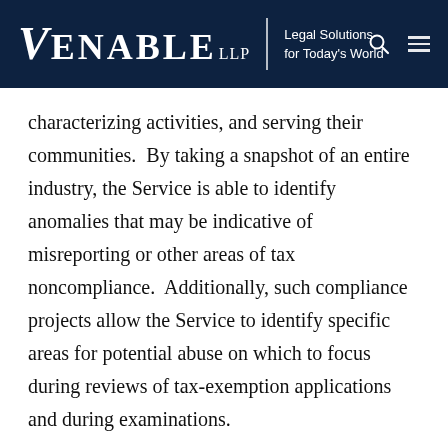VENABLE LLP | Legal Solutions for Today's World
characterizing activities, and serving their communities.  By taking a snapshot of an entire industry, the Service is able to identify anomalies that may be indicative of misreporting or other areas of tax noncompliance.  Additionally, such compliance projects allow the Service to identify specific areas for potential abuse on which to focus during reviews of tax-exemption applications and during examinations.
Compliance project initiatives involve several